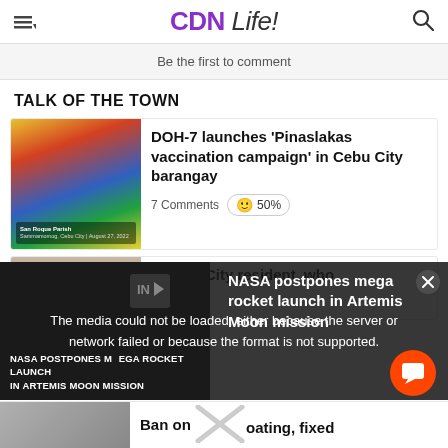CDN Life!
Be the first to comment
TALK OF THE TOWN
[Figure (photo): Group photo at vaccination campaign event with colorful balloon decorations at San Roque Parish, Cebu City, August 27, 2022]
DOH-7 launches ‘Pinaslakas vaccination campaign’ in Cebu City barangay
7 Comments 🙂 50%
[Figure (photo): Person photo - partial view for Talisay City resident article]
Talisay City resident, who
[Figure (screenshot): Video player overlay showing error: The media could not be loaded, either because the server or network failed or because the format is not supported. Shows NASA postpones mega rocket launch in Artemis Moon mission video thumbnail.]
NASA postpones mega rocket launch in Artemis Moon mission
Ban on boating, fixed